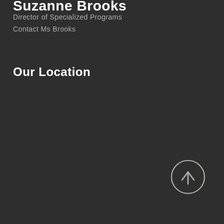Suzanne Brooks
Director of Specialized Programs
Contact Ms Brooks
Our Location
[Figure (other): Scroll-to-top button: a circle with an upward-pointing arrow, light grey stroke on dark background, positioned in the lower right area]